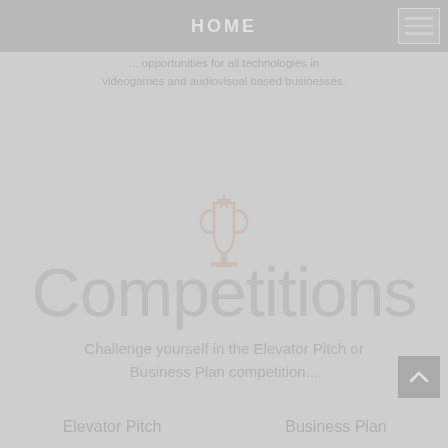HOME
... opportunities for all technologies in videogames and audiovisual based businesses.
[Figure (illustration): Trophy/award icon in muted rose/brown color on grey background]
Competitions
Challenge yourself in the Elevator Pitch or Business Plan competition...
Elevator Pitch   Business Plan